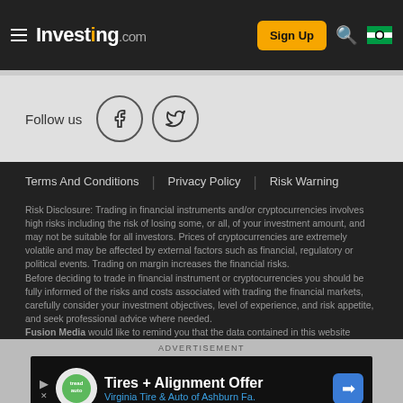Investing.com — Sign Up
[Figure (screenshot): Follow us section with Facebook and Twitter social media icons]
Follow us
Terms And Conditions   Privacy Policy   Risk Warning
Risk Disclosure: Trading in financial instruments and/or cryptocurrencies involves high risks including the risk of losing some, or all, of your investment amount, and may not be suitable for all investors. Prices of cryptocurrencies are extremely volatile and may be affected by external factors such as financial, regulatory or political events. Trading on margin increases the financial risks.
Before deciding to trade in financial instrument or cryptocurrencies you should be fully informed of the risks and costs associated with trading the financial markets, carefully consider your investment objectives, level of experience, and risk appetite, and seek professional advice where needed.
Fusion Media would like to remind you that the data contained in this website
[Figure (screenshot): Advertisement banner: Tires + Alignment Offer — Virginia Tire & Auto of Ashburn Fa.]